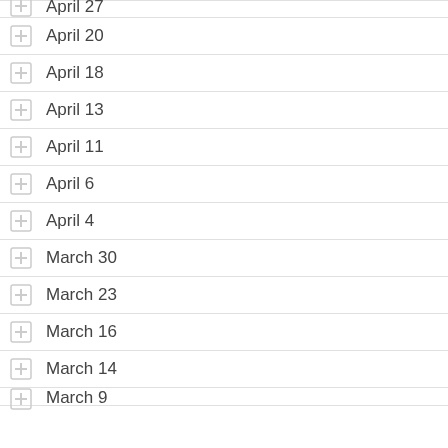April 27
April 20
April 18
April 13
April 11
April 6
April 4
March 30
March 23
March 16
March 14
March 9